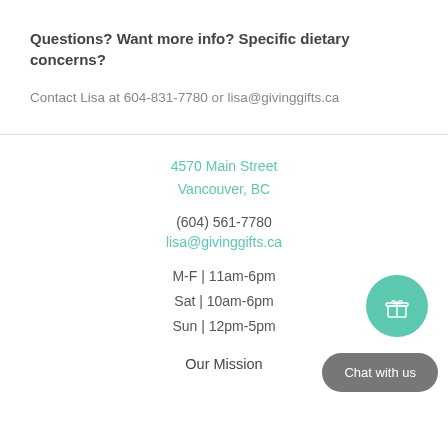Questions? Want more info? Specific dietary concerns?
Contact Lisa at 604-831-7780 or lisa@givinggifts.ca
4570 Main Street
Vancouver, BC
(604) 561-7780
lisa@givinggifts.ca
M-F | 11am-6pm
Sat | 10am-6pm
Sun | 12pm-5pm
[Figure (illustration): Teal circular button with a gift box icon]
[Figure (illustration): Gray rounded rectangle chat button with text 'Chat with us']
Our Mission